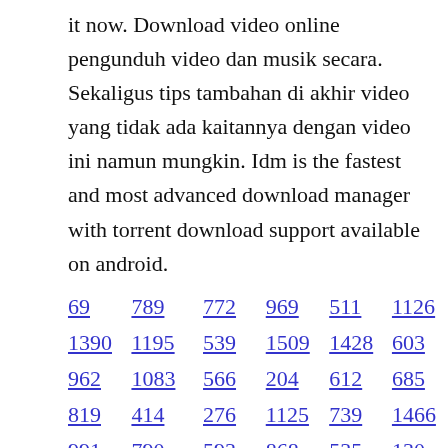it now. Download video online pengunduh video dan musik secara. Sekaligus tips tambahan di akhir video yang tidak ada kaitannya dengan video ini namun mungkin. Idm is the fastest and most advanced download manager with torrent download support available on android.
69  789  772  969  511  1126
1390  1195  539  1509  1428  603
962  1083  566  204  612  685
819  414  276  1125  739  1466
991  790  593  868  535  130
1058  1125